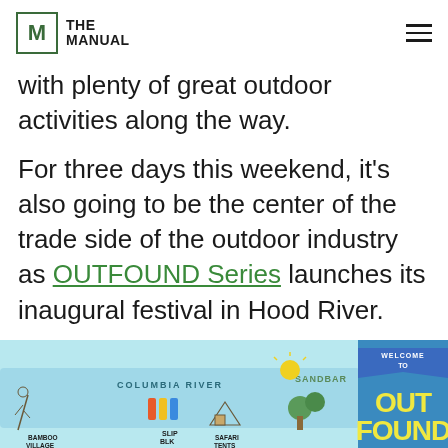THE MANUAL
with plenty of great outdoor activities along the way.
For three days this weekend, it's also going to be the center of the trade side of the outdoor industry as OUTFOUND Series launches its inaugural festival in Hood River.
[Figure (illustration): Illustrated map of the OUTFOUND festival area showing Columbia River, Sandbar, Bamboo Village, Slip area, Safari Tents, and a 'Welcome to OUTFOUND' sign.]